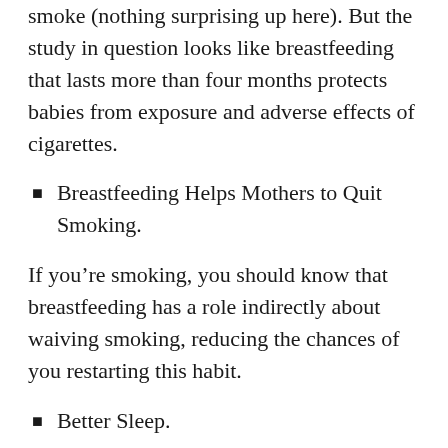smoke (nothing surprising up here). But the study in question looks like breastfeeding that lasts more than four months protects babies from exposure and adverse effects of cigarettes.
Breastfeeding Helps Mothers to Quit Smoking.
If you’re smoking, you should know that breastfeeding has a role indirectly about waiving smoking, reducing the chances of you restarting this habit.
Better Sleep.
Melatonin is a hormone that regulates the